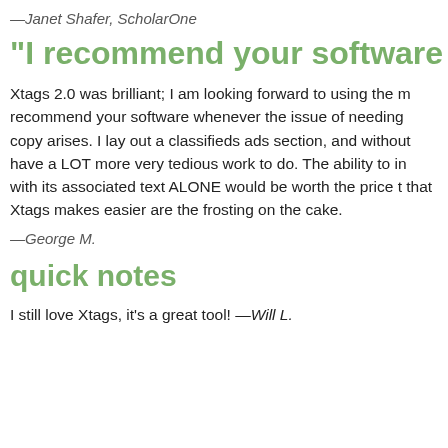—Janet Shafer, ScholarOne
“I recommend your software [Xtag
Xtags 2.0 was brilliant; I am looking forward to using the m recommend your software whenever the issue of needing copy arises. I lay out a classifieds ads section, and without have a LOT more very tedious work to do. The ability to in with its associated text ALONE would be worth the price t that Xtags makes easier are the frosting on the cake.
—George M.
quick notes
I still love Xtags, it’s a great tool! —Will L.